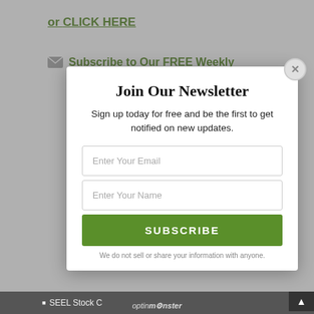or CLICK HERE
Subscribe to Our FREE Weekly
Join Our Newsletter
Sign up today for free and be the first to get notified on new updates.
Enter Your Email
Enter Your Name
SUBSCRIBE
We do not sell or share your information with anyone.
SEEL Stock C
optinmonster